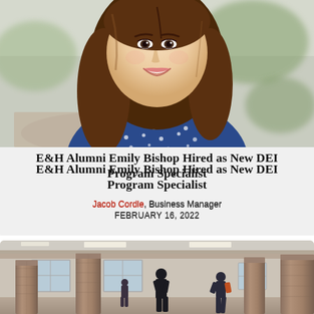[Figure (photo): Portrait photo of a young woman with long dark hair, smiling, wearing a blue polka-dot top, outdoors with blurred background]
E&H Alumni Emily Bishop Hired as New DEI Program Specialist
Jacob Cordle, Business Manager
FEBRUARY 16, 2022
[Figure (photo): Interior photo of a large room with stone columns, ceiling lights, and windows; people visible in the space]